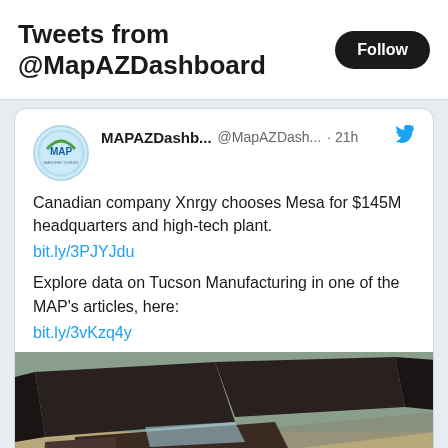Tweets from @MapAZDashboard
MAPAZDashb... @MapAZDash... · 21h
Canadian company Xnrgy chooses Mesa for $145M headquarters and high-tech plant.
bit.ly/3PJYJdu
Explore data on Tucson Manufacturing in one of the MAP's articles, here:
bit.ly/3vKzq4y
[Figure (photo): Aerial view of a large modern industrial or commercial building complex with dark roofs, surrounded by landscaped grounds and roads.]